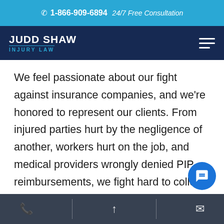📞 1-866-909-6894  24/7 Free Consultation
[Figure (logo): Judd Shaw Injury Law logo with white text on dark navy background and hamburger menu icon]
We feel passionate about our fight against insurance companies, and we're honored to represent our clients. From injured parties hurt by the negligence of another, workers hurt on the job, and medical providers wrongly denied PIP reimbursements, we fight hard to collect against the insurance giants. We've never represented insurance companies like Geico, Allstate, NJM, State Farm, Nationwide, Progressive, and so many others. We put our hearts into our Injury Litigation, Workers' Compensation, and NJ/NY...